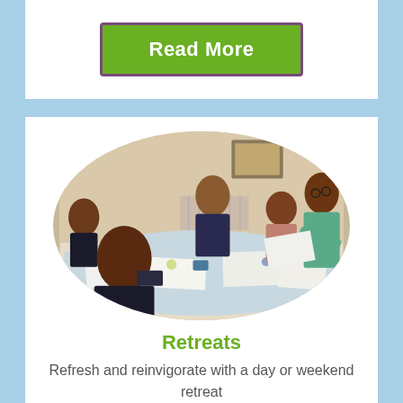Read More
[Figure (photo): Group of people sitting around a table working on art or writing materials in a room setting, photo shown in oval crop.]
Retreats
Refresh and reinvigorate with a day or weekend retreat